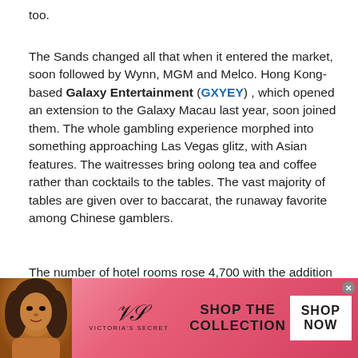too.
The Sands changed all that when it entered the market, soon followed by Wynn, MGM and Melco. Hong Kong-based Galaxy Entertainment (GXYEY) , which opened an extension to the Galaxy Macau last year, soon joined them. The whole gambling experience morphed into something approaching Las Vegas glitz, with Asian features. The waitresses bring oolong tea and coffee rather than cocktails to the tables. The vast majority of tables are given over to baccarat, the runaway favorite among Chinese gamblers.
The number of hotel rooms rose 4,700 with the addition simply of the Wynn Palace Cotai and The Parisian. That brought the total stock to more than 35,000 rooms, up from
[Figure (photo): Victoria's Secret advertisement banner with a woman model on the left, VS logo in the center, 'SHOP THE COLLECTION' text, and a 'SHOP NOW' white button on the right, on a pink/red gradient background.]